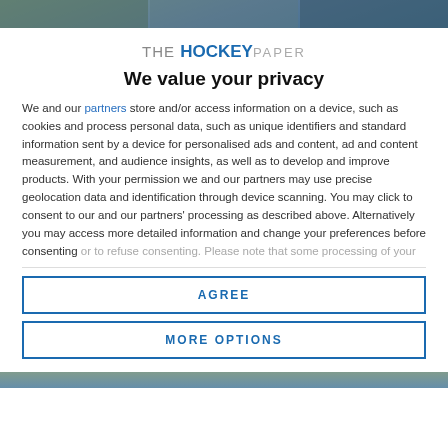[Figure (photo): Top banner image showing people, partially visible, cropped at top of modal]
[Figure (logo): The Hockey Paper logo — 'THE' in small grey caps, 'HOCKEY' in bold blue, 'PAPER' in light grey]
We value your privacy
We and our partners store and/or access information on a device, such as cookies and process personal data, such as unique identifiers and standard information sent by a device for personalised ads and content, ad and content measurement, and audience insights, as well as to develop and improve products. With your permission we and our partners may use precise geolocation data and identification through device scanning. You may click to consent to our and our partners' processing as described above. Alternatively you may access more detailed information and change your preferences before consenting or to refuse consenting. Please note that some processing of your
AGREE
MORE OPTIONS
[Figure (photo): Bottom banner image, partially visible, cropped at bottom of modal]